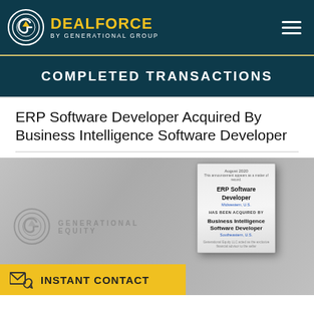DEALFORCE BY GENERATIONAL GROUP
COMPLETED TRANSACTIONS
ERP Software Developer Acquired By Business Intelligence Software Developer
[Figure (photo): Tombstone award plaque showing ERP Software Developer acquired by Business Intelligence Software Developer, August 2020, with Generational Equity watermark in background and yellow Instant Contact CTA bar at bottom]